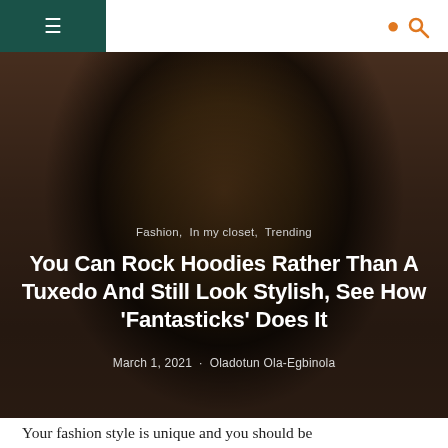≡  🔍
[Figure (photo): Man wearing a brown and black tie-dye hoodie, photographed against a quilted/diamond-patterned light gray background. The image serves as a hero banner for the article.]
Fashion,  In my closet,  Trending
You Can Rock Hoodies Rather Than A Tuxedo And Still Look Stylish, See How 'Fantasticks' Does It
March 1, 2021  ·  Oladotun Ola-Egbinola
Your fashion style is unique and you should be